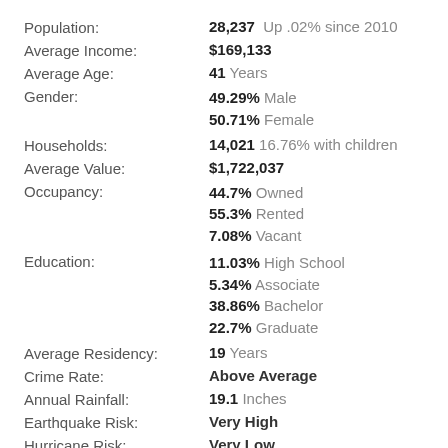Population: 28,237 Up .02% since 2010
Average Income: $169,133
Average Age: 41 Years
Gender: 49.29% Male 50.71% Female
Households: 14,021 16.76% with children
Average Value: $1,722,037
Occupancy: 44.7% Owned 55.3% Rented 7.08% Vacant
Education: 11.03% High School 5.34% Associate 38.86% Bachelor 22.7% Graduate
Average Residency: 19 Years
Crime Rate: Above Average
Annual Rainfall: 19.1 Inches
Earthquake Risk: Very High
Hurricane Risk: Very Low